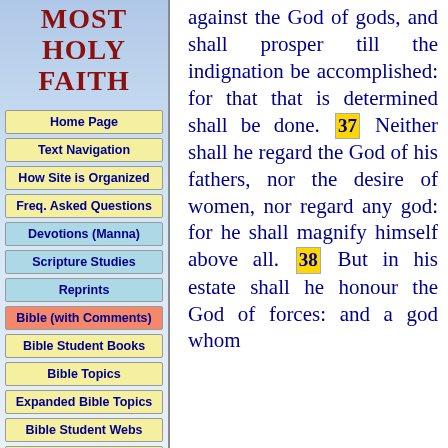MOST HOLY FAITH
Home Page
Text Navigation
How Site is Organized
Freq. Asked Questions
Devotions (Manna)
Scripture Studies
Reprints
Bible (with Comments)
Bible Student Books
Bible Topics
Expanded Bible Topics
Bible Student Webs
Miscellaneous
against the God of gods, and shall prosper till the indignation be accomplished: for that that is determined shall be done. 37 Neither shall he regard the God of his fathers, nor the desire of women, nor regard any god: for he shall magnify himself above all. 38 But in his estate shall he honour the God of forces: and a god whom